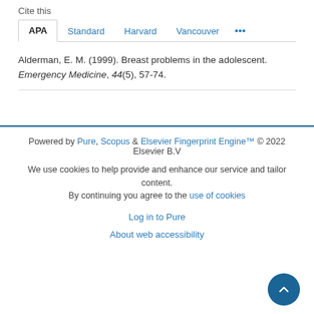Cite this
APA | Standard | Harvard | Vancouver ...
Alderman, E. M. (1999). Breast problems in the adolescent. Emergency Medicine, 44(5), 57-74.
Powered by Pure, Scopus & Elsevier Fingerprint Engine™ © 2022 Elsevier B.V
We use cookies to help provide and enhance our service and tailor content. By continuing you agree to the use of cookies
Log in to Pure
About web accessibility